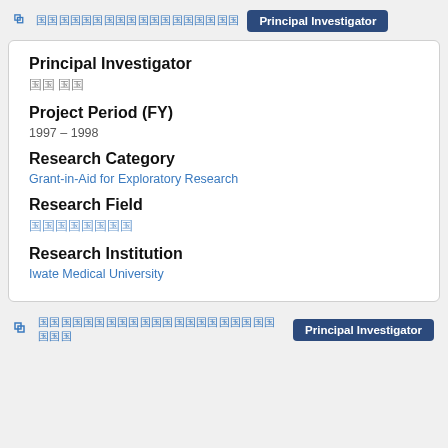Principal Investigator
Principal Investigator
국 국국
Project Period (FY)
1997 – 1998
Research Category
Grant-in-Aid for Exploratory Research
Research Field
국국국국국국국
Research Institution
Iwate Medical University
Principal Investigator